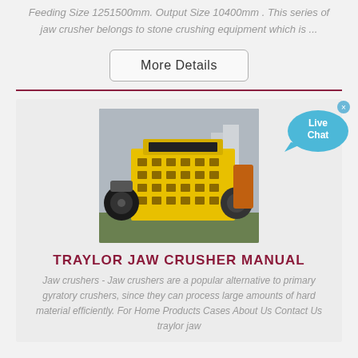Feeding Size 1251500mm. Output Size 10400mm. This series of jaw crusher belongs to stone crushing equipment which is ...
More Details
[Figure (photo): Yellow jaw/impact crusher machine photographed outdoors, showing a large industrial stone crushing machine with yellow painted body and black components]
TRAYLOR JAW CRUSHER MANUAL
Jaw crushers - Jaw crushers are a popular alternative to primary gyratory crushers, since they can process large amounts of hard material efficiently. For Home Products Cases About Us Contact Us traylor jaw